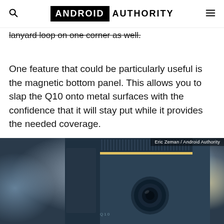ANDROID AUTHORITY
lanyard loop on one corner as well.
One feature that could be particularly useful is the magnetic bottom panel. This allows you to slap the Q10 onto metal surfaces with the confidence that it will stay put while it provides the needed coverage.
[Figure (photo): Close-up photo of a device (Q10) showing its camera and textured side, with bokeh background. Credit: Eric Zeman / Android Authority]